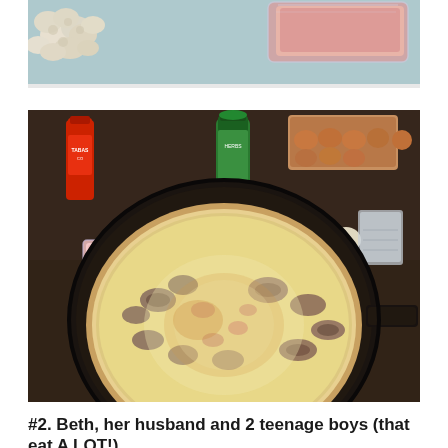[Figure (photo): Top portion of a photo showing cauliflower/popcorn on the left and a pink/salmon ingredient in plastic wrap on the right, against a light blue background]
[Figure (photo): Photo of a cast iron skillet containing a frittata or egg dish with mushrooms, ham/bacon, and cheese, surrounded by ingredients including eggs in a carton, a green spice jar, hot sauce bottle, mushrooms, an egg, and a measuring cup on a dark granite countertop]
#2. Beth, her husband and 2 teenage boys (that eat A LOT!)